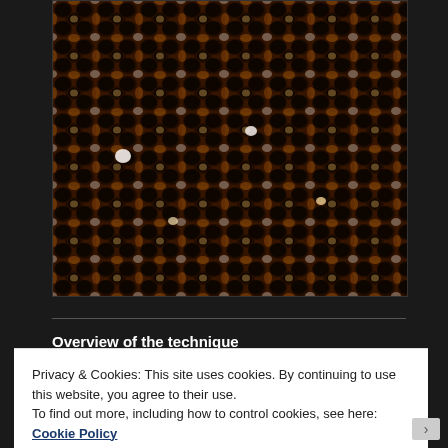[Figure (photo): STM (scanning tunneling microscopy) image showing a periodic atomic-scale pattern of a surface, with bright spots and dark holes arranged in a repeating lattice, rendered in false color (black, orange, white thermal colormap).]
Overview of the technique
Privacy & Cookies: This site uses cookies. By continuing to use this website, you agree to their use.
To find out more, including how to control cookies, see here: Cookie Policy